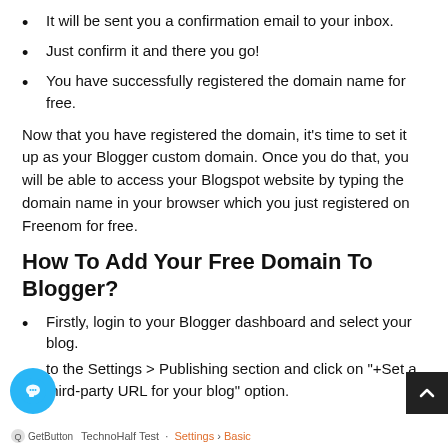It will be sent you a confirmation email to your inbox.
Just confirm it and there you go!
You have successfully registered the domain name for free.
Now that you have registered the domain, it's time to set it up as your Blogger custom domain. Once you do that, you will be able to access your Blogspot website by typing the domain name in your browser which you just registered on Freenom for free.
How To Add Your Free Domain To Blogger?
Firstly, login to your Blogger dashboard and select your blog.
to the Settings > Publishing section and click on "+Set a third-party URL for your blog" option.
TechnoHalf Test · Settings › Basic